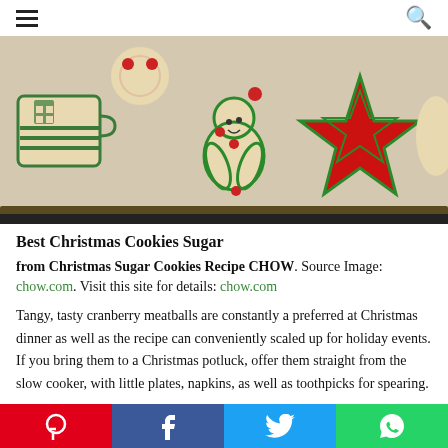☰  🔍
[Figure (photo): Christmas sugar cookies on a baking tray, decorated with red and green icing. Shapes include a mug, a person/gingerbread man, and a star.]
Best Christmas Cookies Sugar
from Christmas Sugar Cookies Recipe CHOW. Source Image: chow.com. Visit this site for details: chow.com
Tangy, tasty cranberry meatballs are constantly a preferred at Christmas dinner as well as the recipe can conveniently scaled up for holiday events. If you bring them to a Christmas potluck, offer them straight from the slow cooker, with little plates, napkins, as well as toothpicks for spearing.